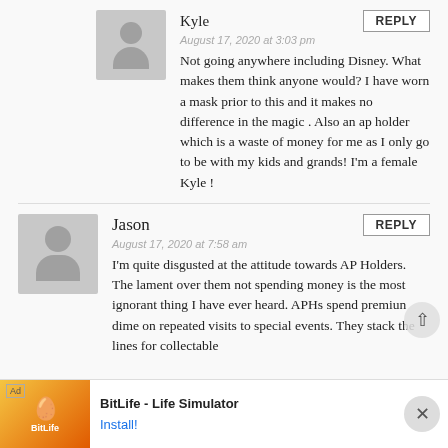Kyle
August 17, 2020 at 3:03 pm
Not going anywhere including Disney. What makes them think anyone would? I have worn a mask prior to this and it makes no difference in the magic . Also an ap holder which is a waste of money for me as I only go to be with my kids and grands! I'm a female Kyle !
Jason
August 17, 2020 at 7:58 am
I'm quite disgusted at the attitude towards AP Holders. The lament over them not spending money is the most ignorant thing I have ever heard. APHs spend premiun dime on repeated visits to special events. They stack the lines for collectable
[Figure (screenshot): BitLife - Life Simulator advertisement banner at bottom of page with Install button]